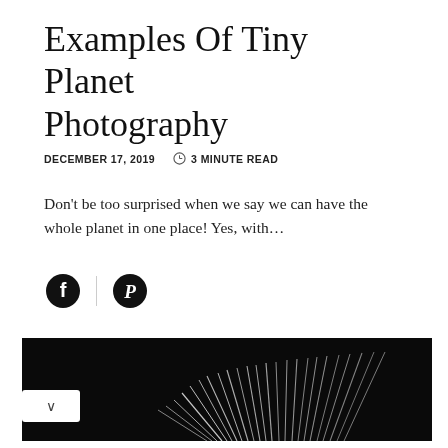Examples Of Tiny Planet Photography
DECEMBER 17, 2019   🕐 3 MINUTE READ
Don't be too surprised when we say we can have the whole planet in one place! Yes, with…
[Figure (illustration): Social sharing icons: Facebook (circular F icon) and Pinterest (circular P icon) separated by a vertical divider line]
[Figure (photo): A dark/black background photograph showing white diagonal streaks or grass blades rising from bottom right, creating a minimalist abstract composition — likely a tiny planet photography example]